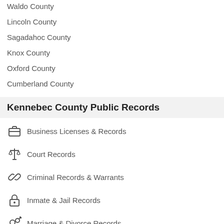Waldo County
Lincoln County
Sagadahoc County
Knox County
Oxford County
Cumberland County
Kennebec County Public Records
Business Licenses & Records
Court Records
Criminal Records & Warrants
Inmate & Jail Records
Marriage & Divorce Records